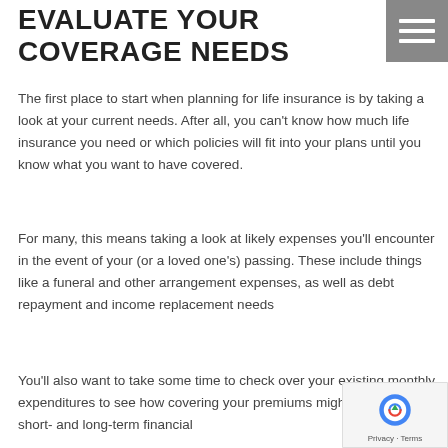EVALUATE YOUR COVERAGE NEEDS
The first place to start when planning for life insurance is by taking a look at your current needs. After all, you can't know how much life insurance you need or which policies will fit into your plans until you know what you want to have covered.
For many, this means taking a look at likely expenses you'll encounter in the event of your (or a loved one's) passing. These include things like a funeral and other arrangement expenses, as well as debt repayment and income replacement needs
You'll also want to take some time to check over your existing monthly expenditures to see how covering your premiums might play into your short- and long-term financial